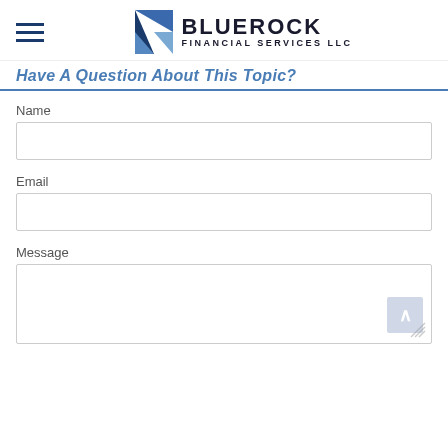Bluerock Financial Services LLC
Have A Question About This Topic?
Name
Email
Message